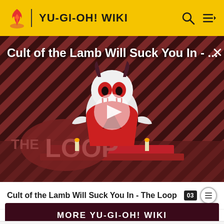YU-GI-OH! WIKI
[Figure (screenshot): Video thumbnail for 'Cult of the Lamb Will Suck You In - The Loop' with a cartoon lamb character on a red stage against a diagonal striped background, with The Loop logo and a play button overlay]
Cult of the Lamb Will Suck You In - The Loop
MORE YU-GI-OH! WIKI